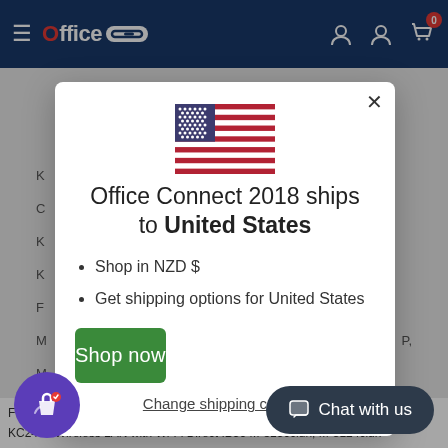Office Connect 2018 - navigation bar with logo and cart icon (0 items)
[Figure (screenshot): Modal dialog overlay on an e-commerce website. Shows a US flag, text 'Office Connect 2018 ships to United States', bullet points for 'Shop in NZD $' and 'Get shipping options for United States', a green 'Shop now' button, and a 'Change shipping country' link. Background shows a product listing page. A purple shopping bag icon button is bottom-left and a dark 'Chat with us' button is bottom-right.]
FS-C5025N, FS-C5030N, FS-C8100DN, P2035d 12
KC2459 Wireless LAN with Wi-Fi Direct IB36 M-8130cidn, M-8124cidn